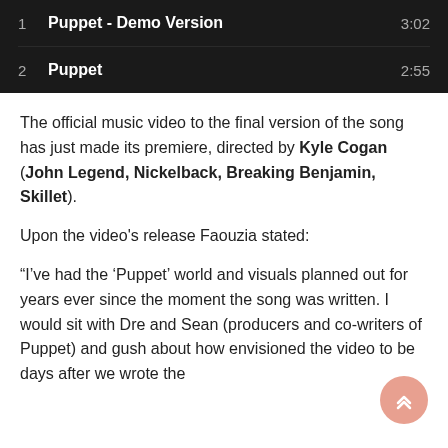| # | Title | Duration |
| --- | --- | --- |
| 1 | Puppet - Demo Version | 3:02 |
| 2 | Puppet | 2:55 |
The official music video to the final version of the song has just made its premiere, directed by Kyle Cogan (John Legend, Nickelback, Breaking Benjamin, Skillet).
Upon the video's release Faouzia stated:
“I’ve had the ‘Puppet’ world and visuals planned out for years ever since the moment the song was written. I would sit with Dre and Sean (producers and co-writers of Puppet) and gush about how envisioned the video to be days after we wrote the